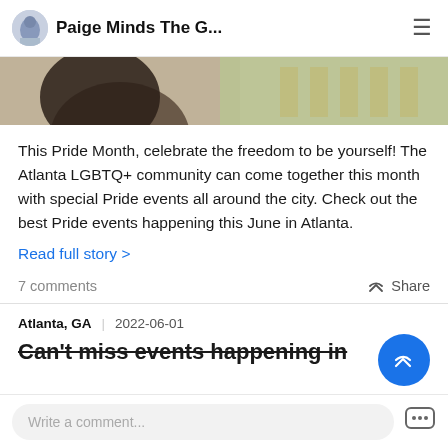Paige Minds The G...
[Figure (photo): Partial photo of a person with dark hair, with a colorful background]
This Pride Month, celebrate the freedom to be yourself! The Atlanta LGBTQ+ community can come together this month with special Pride events all around the city. Check out the best Pride events happening this June in Atlanta.
Read full story >
7 comments
Share
Atlanta, GA  2022-06-01
Can't miss events happening in
Write a comment...